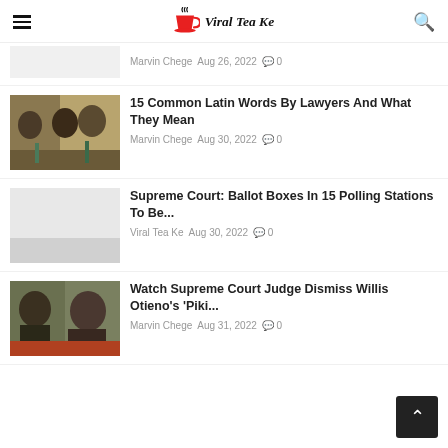Viral Tea Ke
Marvin Chege  Aug 26, 2022  ☺ 0
15 Common Latin Words By Lawyers And What They Mean
Marvin Chege  Aug 30, 2022  ☺ 0
Supreme Court: Ballot Boxes In 15 Polling Stations To Be...
Viral Tea Ke  Aug 30, 2022  ☺ 0
Watch Supreme Court Judge Dismiss Willis Otieno's 'Piki...
Marvin Chege  Aug 31, 2022  ☺ 0